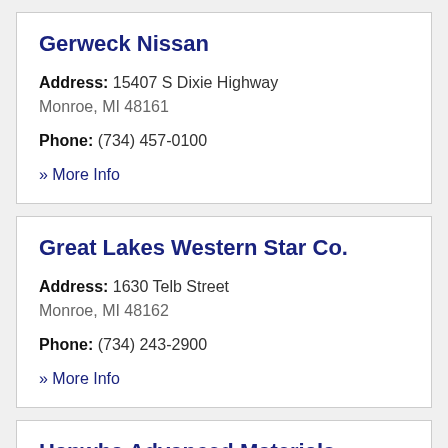Gerweck Nissan
Address: 15407 S Dixie Highway
Monroe, MI 48161
Phone: (734) 457-0100
» More Info
Great Lakes Western Star Co.
Address: 1630 Telb Street
Monroe, MI 48162
Phone: (734) 243-2900
» More Info
Hanwha Advanced Materials America